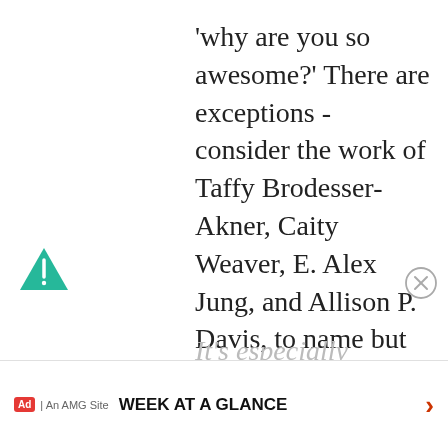'why are you so awesome?' There are exceptions - consider the work of Taffy Brodesser-Akner, Caity Weaver, E. Alex Jung, and Allison P. Davis, to name but four - but they only reinforce the rule. It's not the job of the journalist to provide free publicity with a glitzy sheen.
It's especially interesting because, as the profile seems to make clear, I'm not sure Strong would
[Figure (logo): Teal/green triangle icon (FreeTaxUSA or similar app icon)]
[Figure (other): Close (X) button circle in grey outline]
WEEK AT A GLANCE  >  Ad | An AMG Site